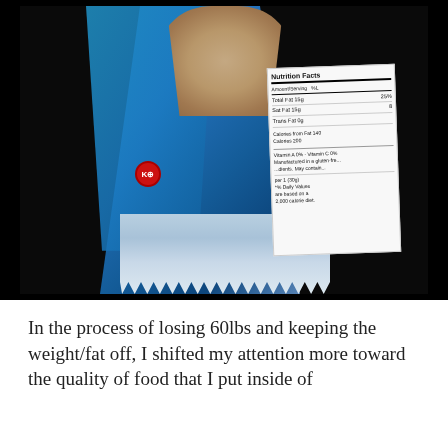[Figure (photo): A food/snack package (protein bar or similar) being opened, showing the inner food content at top, blue metallic wrapper material, a red kosher certification symbol, and a nutrition facts label visible on the right side of the package. The background is black.]
In the process of losing 60lbs and keeping the weight/fat off, I shifted my attention more toward the quality of food that I put inside of